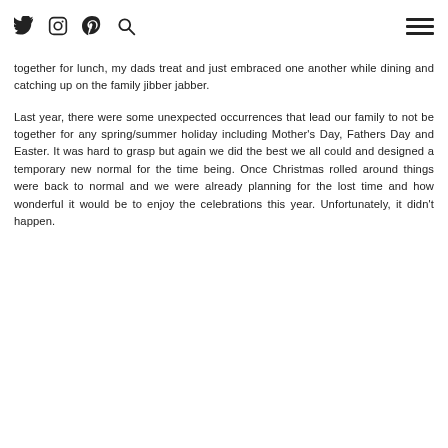Twitter Instagram Pinterest Search [hamburger menu]
together for lunch, my dads treat and just embraced one another while dining and catching up on the family jibber jabber.
Last year, there were some unexpected occurrences that lead our family to not be together for any spring/summer holiday including Mother's Day, Fathers Day and Easter. It was hard to grasp but again we did the best we all could and designed a temporary new normal for the time being. Once Christmas rolled around things were back to normal and we were already planning for the lost time and how wonderful it would be to enjoy the celebrations this year. Unfortunately, it didn't happen.